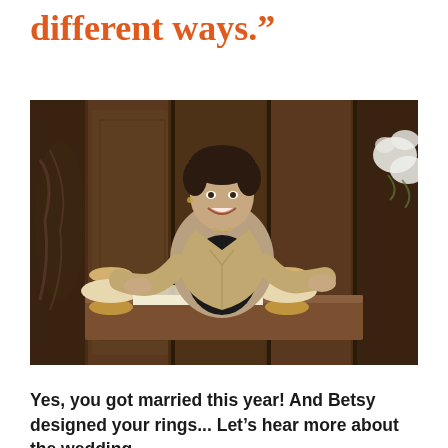different ways.”
[Figure (photo): A smiling woman with short dark hair wearing a beige blazer over a black top, standing behind a wooden desk with a Torah scroll (two wooden rollers with white parchment), in a wood-paneled room with ornate carved wooden walls and white flowers visible at right.]
Yes, you got married this year! And Betsy designed your rings... Let’s hear more about the wedding